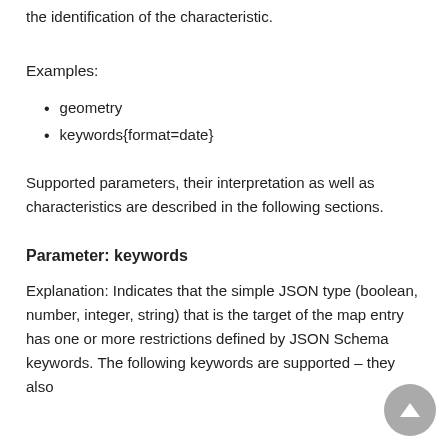the identification of the characteristic.
Examples:
geometry
keywords{format=date}
Supported parameters, their interpretation as well as characteristics are described in the following sections.
Parameter: keywords
Explanation: Indicates that the simple JSON type (boolean, number, integer, string) that is the target of the map entry has one or more restrictions defined by JSON Schema keywords. The following keywords are supported – they also represent the characteristics of the...